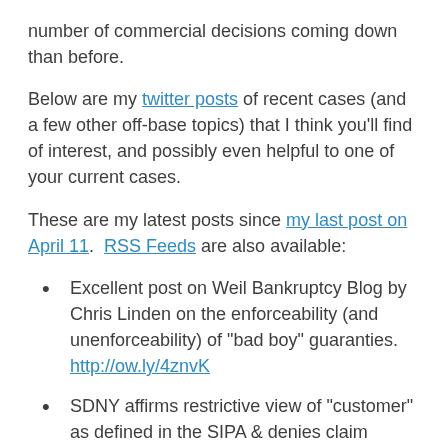number of commercial decisions coming down than before.
Below are my twitter posts of recent cases (and a few other off-base topics) that I think you'll find of interest, and possibly even helpful to one of your current cases.
These are my latest posts since my last post on April 11.  RSS Feeds are also available:
Excellent post on Weil Bankruptcy Blog by Chris Linden on the enforceability (and unenforceability) of "bad boy" guaranties. http://ow.ly/4znvK
SDNY affirms restrictive view of "customer" as defined in the SIPA & denies claim based on unauthorized stock purchase. http://ow.ly/4zSUZ